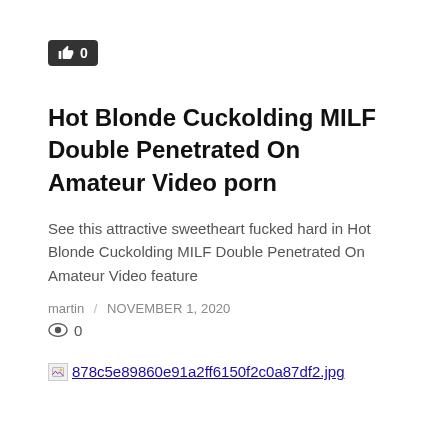[Figure (other): Like/thumbs-up button showing count 0]
Hot Blonde Cuckolding MILF Double Penetrated On Amateur Video porn
See this attractive sweetheart fucked hard in Hot Blonde Cuckolding MILF Double Penetrated On Amateur Video feature
martin / NOVEMBER 1, 2020
👁 0
[Figure (photo): Broken image placeholder with filename: 878c5e89860e91a2ff6150f2c0a87df2.jpg]